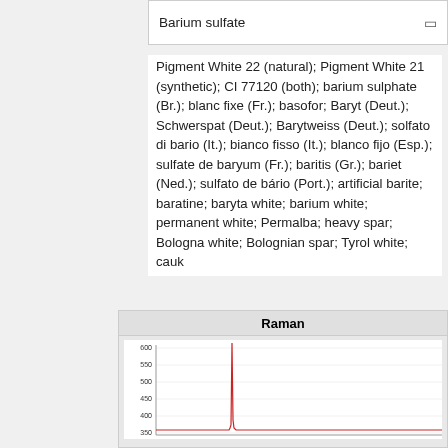| Barium sulfate |  |
| --- | --- |
Pigment White 22 (natural); Pigment White 21 (synthetic); CI 77120 (both); barium sulphate (Br.); blanc fixe (Fr.); basofor; Baryt (Deut.); Schwerspat (Deut.); Barytweiss (Deut.); solfato di bario (It.); bianco fisso (It.); blanco fijo (Esp.); sulfate de baryum (Fr.); baritis (Gr.); bariet (Ned.); sulfato de bário (Port.); artificial barite; baratine; baryta white; barium white; permanent white; Permalba; heavy spar; Bologna white; Bolognian spar; Tyrol white; cauk
[Figure (continuous-plot): Raman spectrum chart showing a sharp red peak around 600 wavenumber on y-axis from approximately 350 to 600+, with a prominent spike visible.]